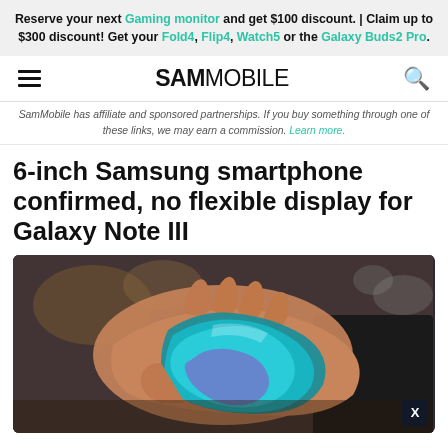Reserve your next Gaming monitor and get $100 discount. | Claim up to $300 discount! Get your Fold4, Flip4, Watch5 or the Galaxy Buds2 Pro.
SAMMOBILE
SamMobile has affiliate and sponsored partnerships. If you buy something through one of these links, we may earn a commission. Learn more.
6-inch Samsung smartphone confirmed, no flexible display for Galaxy Note III
[Figure (photo): A hand bending a flexible OLED display with cyan/blue coloring, demonstrating flexible display technology.]